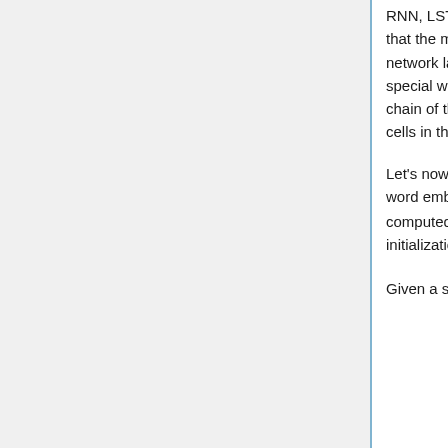RNN, LSTMs are made up of chains of repeating modules. The difference is that the modules are little more complicated. Instead of having one neural network layer like in RNN, they have four (called gates), interacting in a special way. Additionally, they have a cell state which runs through the entire chain of the network. It helps in managing the information from the previous cells in the chain.
Let's now define it more formally and mathematically. Given a sequence of word embeddings x_1, ..., x_T ∈ R^{d1}, a cell and state vector c_t, h_t ∈ R^{d2} are computed for each element by iteratively applying the below equations, with initialization h_0 = c_0 = 0.
Given a sequence of word embeddings